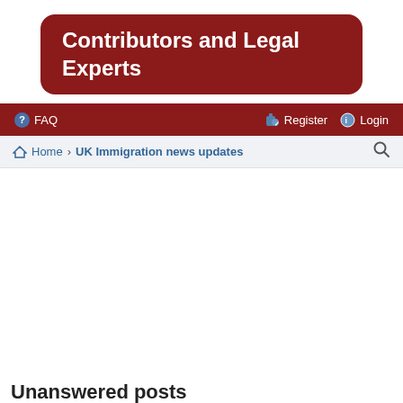Contributors and Legal Experts
FAQ  Register  Login
Home › UK Immigration news updates
Unanswered posts
Go to advanced search